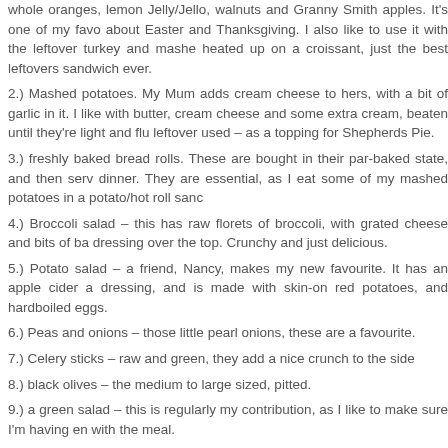whole oranges, lemon Jelly/Jello, walnuts and Granny Smith apples. It's one of my favo... about Easter and Thanksgiving. I also like to use it with the leftover turkey and mashe... heated up on a croissant, just the best leftovers sandwich ever.
2.) Mashed potatoes. My Mum adds cream cheese to hers, with a bit of garlic in it. I like with butter, cream cheese and some extra cream, beaten until they're light and flu... leftover used – as a topping for Shepherds Pie.
3.) freshly baked bread rolls. These are bought in their par-baked state, and then serv... dinner. They are essential, as I eat some of my mashed potatoes in a potato/hot roll sand...
4.) Broccoli salad – this has raw florets of broccoli, with grated cheese and bits of ba... dressing over the top. Crunchy and just delicious.
5.) Potato salad – a friend, Nancy, makes my new favourite. It has an apple cider a... dressing, and is made with skin-on red potatoes, and hardboiled eggs.
6.) Peas and onions – those little pearl onions, these are a favourite.
7.) Celery sticks – raw and green, they add a nice crunch to the side
8.) black olives – the medium to large sized, pitted.
9.) a green salad – this is regularly my contribution, as I like to make sure I'm having en... with the meal.
10.) Pineapple rings. This is cooked as a part of the glaze with the ham, and I love roasted flavour that is imbued into the pineapple. Not entirely certain I'm supposed garnish, but it's edible and tasty, so I always do.
No comments